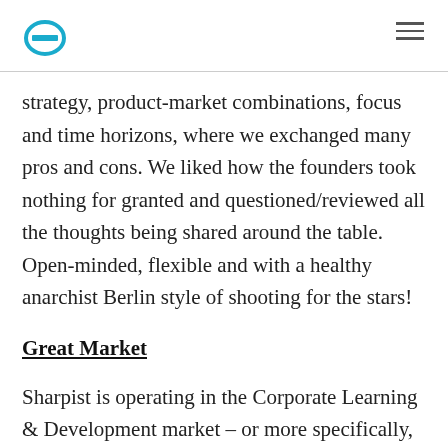strategy, product-market combinations, focus and time horizons, where we exchanged many pros and cons. We liked how the founders took nothing for granted and questioned/reviewed all the thoughts being shared around the table. Open-minded, flexible and with a healthy anarchist Berlin style of shooting for the stars!
Great Market
Sharpist is operating in the Corporate Learning & Development market – or more specifically, in the coaching and training market. The total global size